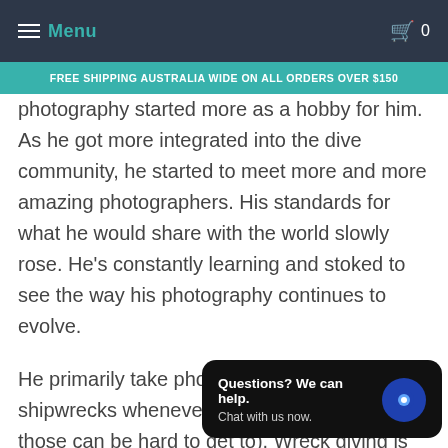Menu | Cart 0
FREE SHIPPING AUSTRALIA WIDE ON ALL ORDERS OVER $150
photography started more as a hobby for him. As he got more integrated into the dive community, he started to meet more and more amazing photographers. His standards for what he would share with the world slowly rose. He's constantly learning and stoked to see the way his photography continues to evolve.
He primarily take photos in caves and shipwrecks whenever he can (sometimes those can be hard to get to). Wreck diving is his favorite. So many angles and ways to position a subject to get an amazing shot. Underwater caves are to take pictures. "It's all about using the small
Questions? We can help. Chat with us now.